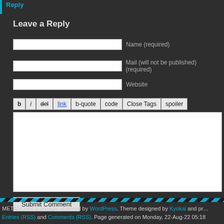Reply
Leave a Reply
Name (required)
Mail (will not be published) (required)
Website
b  i  del  link  b-quote  code  Close Tags  spoiler
Submit Comment
METANORN is proudly powered by WordPress. Theme designed by Kyokai and pr... Entries (RSS) and Comments (RSS). Page generated on Monday, 22-Aug-22 05:18